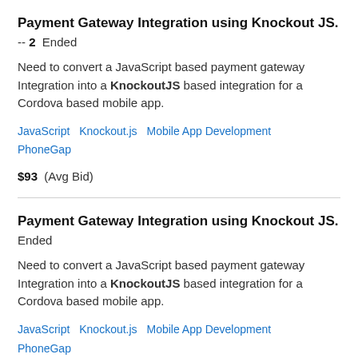Payment Gateway Integration using Knockout JS.
-- 2  Ended
Need to convert a JavaScript based payment gateway Integration into a KnockoutJS based integration for a Cordova based mobile app.
JavaScript   Knockout.js   Mobile App Development   PhoneGap
$93  (Avg Bid)
Payment Gateway Integration using Knockout JS.
Ended
Need to convert a JavaScript based payment gateway Integration into a KnockoutJS based integration for a Cordova based mobile app.
JavaScript   Knockout.js   Mobile App Development   PhoneGap